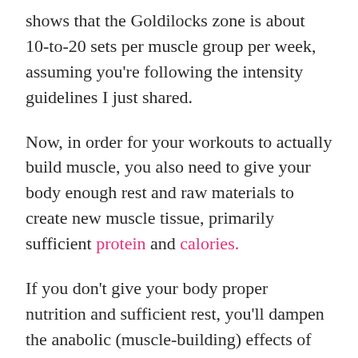shows that the Goldilocks zone is about 10-to-20 sets per muscle group per week, assuming you're following the intensity guidelines I just shared.
Now, in order for your workouts to actually build muscle, you also need to give your body enough rest and raw materials to create new muscle tissue, primarily sufficient protein and calories.
If you don't give your body proper nutrition and sufficient rest, you'll dampen the anabolic (muscle-building) effects of mechanical tension, reducing the effectiveness of your workouts. What's more, this also increases muscle protein breakdown–the opposite side of the coin from muscle protein synthesis–which cancels out some of the gains caused by mechanical tension.